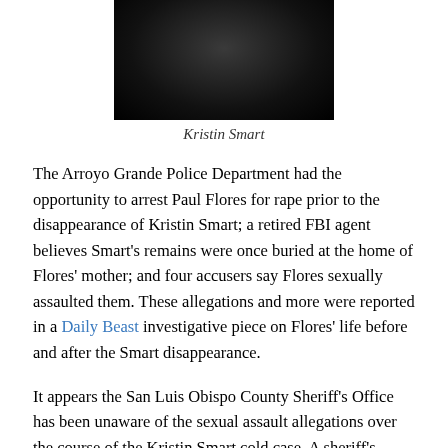[Figure (photo): Dark portrait photo of Kristin Smart]
Kristin Smart
The Arroyo Grande Police Department had the opportunity to arrest Paul Flores for rape prior to the disappearance of Kristin Smart; a retired FBI agent believes Smart's remains were once buried at the home of Flores' mother; and four accusers say Flores sexually assaulted them. These allegations and more were reported in a Daily Beast investigative piece on Flores' life before and after the Smart disappearance.
It appears the San Luis Obispo County Sheriff's Office has been unaware of the sexual assault allegations over the course of the Kristin Smart cold case. A sheriff's office spokesman is requesting that the alleged victims come forward. It might help the investigation, the spokesman said. Since the Daily Beast initially contacted the sheriff's